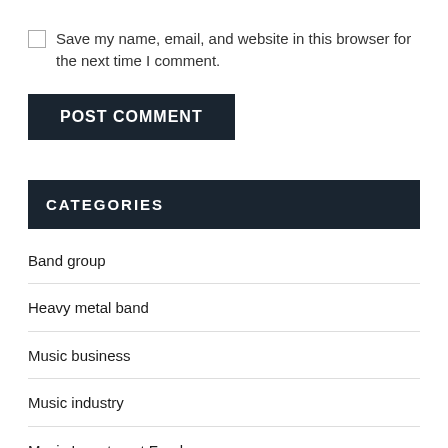Save my name, email, and website in this browser for the next time I comment.
POST COMMENT
CATEGORIES
Band group
Heavy metal band
Music business
Music industry
Music Investment Fund